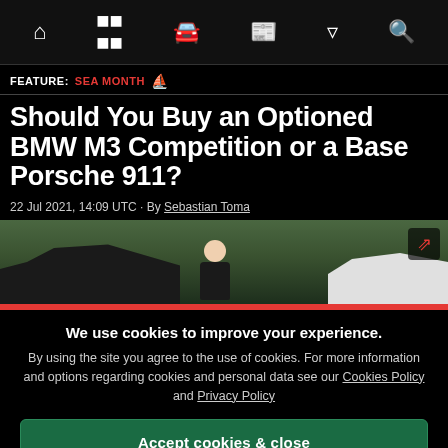Navigation bar with icons: home, grid, car, newspaper, filter, search
FEATURE: SEA MONTH ⛵
Should You Buy an Optioned BMW M3 Competition or a Base Porsche 911?
22 Jul 2021, 14:09 UTC · By Sebastian Toma
[Figure (photo): Outdoor scene with two cars and a person standing between them in a green field, with a red bar at the bottom]
We use cookies to improve your experience. By using the site you agree to the use of cookies. For more information and options regarding cookies and personal data see our Cookies Policy and Privacy Policy
Accept cookies & close
California residents: Do Not Sell My Info